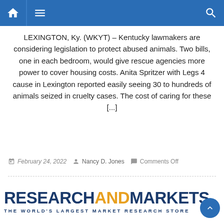Navigation bar with home, menu, and search icons
LEXINGTON, Ky. (WKYT) – Kentucky lawmakers are considering legislation to protect abused animals. Two bills, one in each bedroom, would give rescue agencies more power to cover housing costs. Anita Spritzer with Legs 4 cause in Lexington reported easily seeing 30 to hundreds of animals seized in cruelty cases. The cost of caring for these [...]
February 24, 2022   Nancy D. Jones   Comments Off
[Figure (logo): ResearchAndMarkets logo — RESEARCH in dark blue bold, AND in gold/orange bold, MARKETS in dark blue bold, with tagline THE WORLD'S LARGEST MARKET RESEARCH STORE]